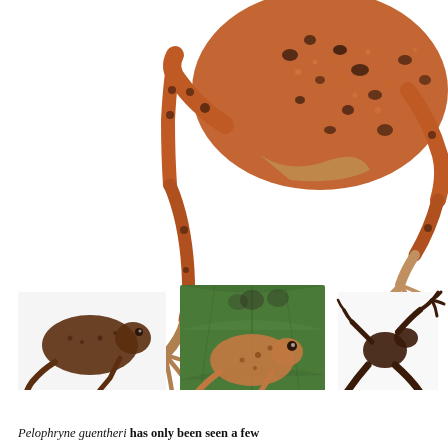[Figure (photo): Composite of four photographs of Pelophryne guentheri frogs. Top large image: close-up of orange-brown frog with dark spots showing legs and body on white background. Bottom row left: small brown frog on white background in side profile. Bottom row center: frog on green leaf with blurred background. Bottom row right: silhouette/dorsal view of frog on white background with legs spread.]
Pelophryne guentheri has only been seen a few